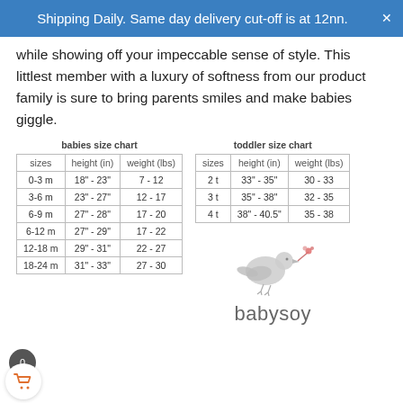Shipping Daily. Same day delivery cut-off is at 12nn.
while showing off your impeccable sense of style. This littlest member with a luxury of softness from our product family is sure to bring parents smiles and make babies giggle.
| sizes | height (in) | weight (lbs) |
| --- | --- | --- |
| 0-3 m | 18" - 23" | 7 - 12 |
| 3-6 m | 23" - 27" | 12 - 17 |
| 6-9 m | 27" - 28" | 17 - 20 |
| 6-12 m | 27" - 29" | 17 - 22 |
| 12-18 m | 29" - 31" | 22 - 27 |
| 18-24 m | 31" - 33" | 27 - 30 |
| sizes | height (in) | weight (lbs) |
| --- | --- | --- |
| 2 t | 33" - 35" | 30 - 33 |
| 3 t | 35" - 38" | 32 - 35 |
| 4 t | 38" - 40.5" | 35 - 38 |
[Figure (logo): babysoy brand logo with a bird illustration and the text 'babysoy']